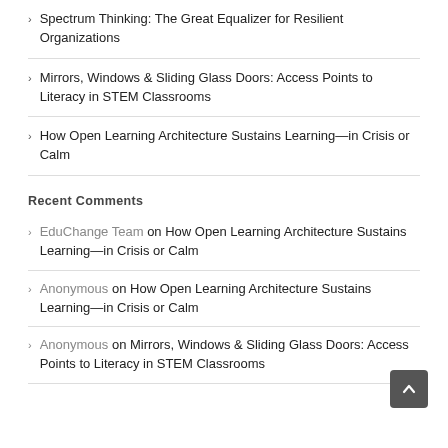Spectrum Thinking: The Great Equalizer for Resilient Organizations
Mirrors, Windows & Sliding Glass Doors: Access Points to Literacy in STEM Classrooms
How Open Learning Architecture Sustains Learning—in Crisis or Calm
Recent Comments
EduChange Team on How Open Learning Architecture Sustains Learning—in Crisis or Calm
Anonymous on How Open Learning Architecture Sustains Learning—in Crisis or Calm
Anonymous on Mirrors, Windows & Sliding Glass Doors: Access Points to Literacy in STEM Classrooms